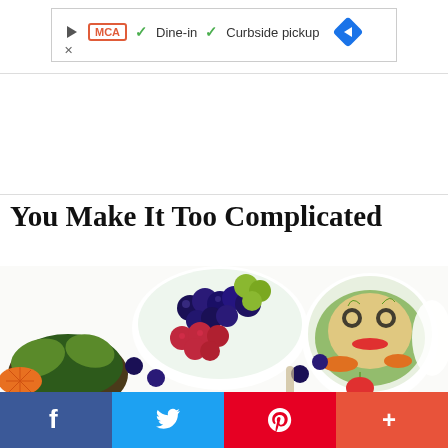[Figure (screenshot): Advertisement banner with play button, MCА logo, checkmarks for Dine-in and Curbside pickup, and navigation arrow icon]
You Make It Too Complicated
[Figure (photo): Overhead view of colorful food bowls with fruit including blueberries, raspberries, grapes, and various food arrangements on a white surface with scattered blueberries and a cherry tomato]
[Figure (infographic): Social sharing bar with Facebook, Twitter, Pinterest, and more buttons]